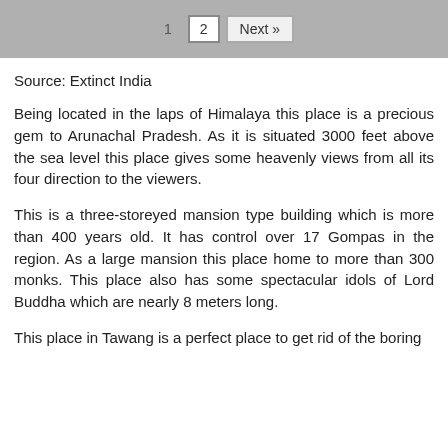1  2  Next »
Source: Extinct India
Being located in the laps of Himalaya this place is a precious gem to Arunachal Pradesh. As it is situated 3000 feet above the sea level this place gives some heavenly views from all its four direction to the viewers.
This is a three-storeyed mansion type building which is more than 400 years old. It has control over 17 Gompas in the region. As a large mansion this place home to more than 300 monks. This place also has some spectacular idols of Lord Buddha which are nearly 8 meters long.
This place in Tawang is a perfect place to get rid of the boring